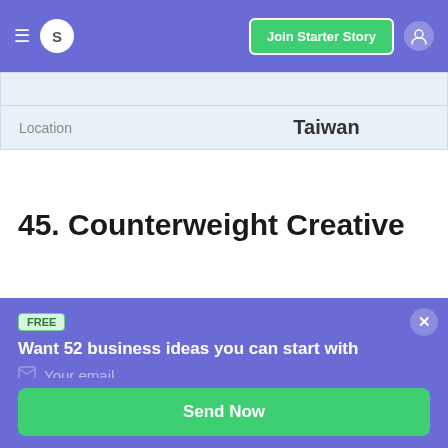S   Join Starter Story
| Location | Taiwan |
| --- | --- |
45. Counterweight Creative
FREE
Want 52 business ideas you can start with less than $1,000?
Your email
Send Now